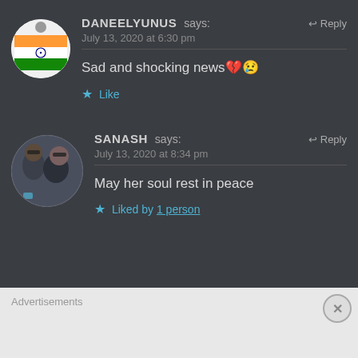DANEELYUNUS says: July 13, 2020 at 6:30 pm — Sad and shocking news 💔😢 — Like
SANASH says: July 13, 2020 at 8:34 pm — May her soul rest in peace — Liked by 1 person
Advertisements